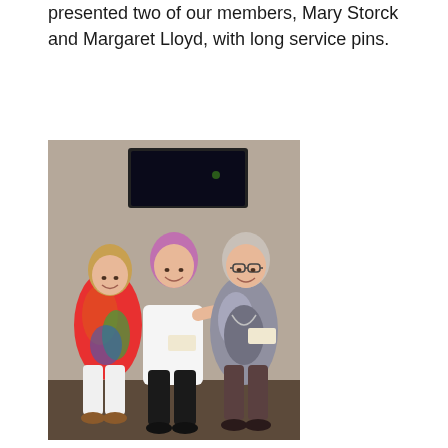presented two of our members, Mary Storck and Margaret Lloyd, with long service pins.
[Figure (photo): Three women standing together smiling indoors. The woman on the left wears a colorful patterned outfit with white pants and brown wedge sandals. The woman in the middle has short pink/purple hair and wears a white top with black pants. The woman on the right wears glasses, a floral jacket over a grey top and dark trousers. Both centre and right women wear name badges. A TV screen is visible on the wall behind them.]